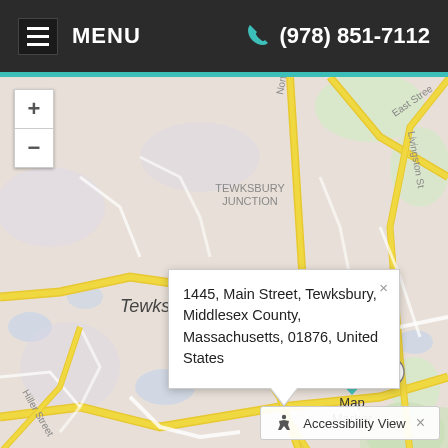MENU  (978) 851-7112
[Figure (map): Street map of Tewksbury, Massachusetts showing road network including Main Street, North Street, East Street, Livingston St, Chandler Street. Map shows area around Tewksbury Junction. A map marker is placed at 1445 Main Street with a popup bubble showing the full address.]
1445, Main Street, Tewksbury, Middlesex County, Massachusetts, 01876, United States
Map Marker
Accessibility View